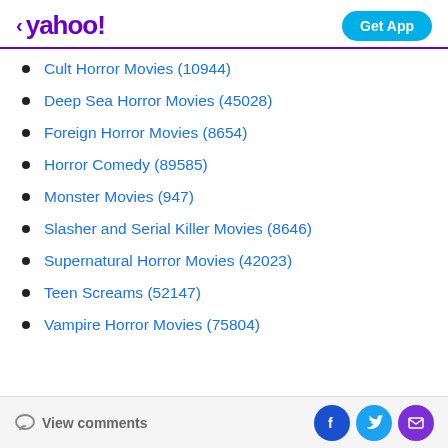yahoo! — Get App
Cult Horror Movies (10944)
Deep Sea Horror Movies (45028)
Foreign Horror Movies (8654)
Horror Comedy (89585)
Monster Movies (947)
Slasher and Serial Killer Movies (8646)
Supernatural Horror Movies (42023)
Teen Screams (52147)
Vampire Horror Movies (75804)
View comments